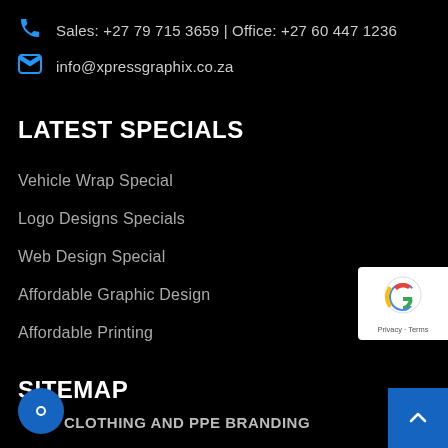Sales: +27 79 715 3659 | Office: +27 60 447 1236
info@xpressgraphix.co.za
LATEST SPECIALS
Vehicle Wrap Special
Logo Designs Specials
Web Design Special
Affordable Graphic Design
Affordable Printing
SITEMAP
CLOTHING AND PPE BRANDING
[Figure (logo): reCAPTCHA badge with Google logo and Privacy - Terms text]
[Figure (other): Scroll to top button with upward chevron]
[Figure (other): Chat bubble button]